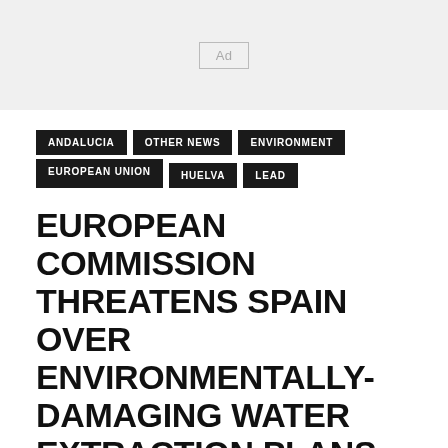[Figure (other): Advertisement banner placeholder with 'Ad' label in a box on a grey background]
ANDALUCIA
OTHER NEWS
ENVIRONMENT
EUROPEAN UNION
HUELVA
LEAD
EUROPEAN COMMISSION THREATENS SPAIN OVER ENVIRONMENTALLY-DAMAGING WATER EXTRACTION PLANS FOR ANDALUCIA'S DOÑANA NATIONAL PARK
Wa...